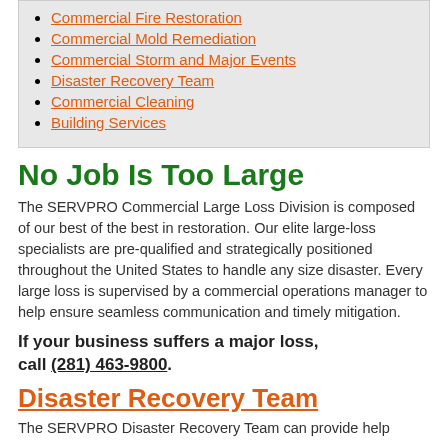Commercial Fire Restoration
Commercial Mold Remediation
Commercial Storm and Major Events
Disaster Recovery Team
Commercial Cleaning
Building Services
No Job Is Too Large
The SERVPRO Commercial Large Loss Division is composed of our best of the best in restoration. Our elite large-loss specialists are pre-qualified and strategically positioned throughout the United States to handle any size disaster. Every large loss is supervised by a commercial operations manager to help ensure seamless communication and timely mitigation.
If your business suffers a major loss, call (281) 463-9800.
Disaster Recovery Team
The SERVPRO Disaster Recovery Team can provide help